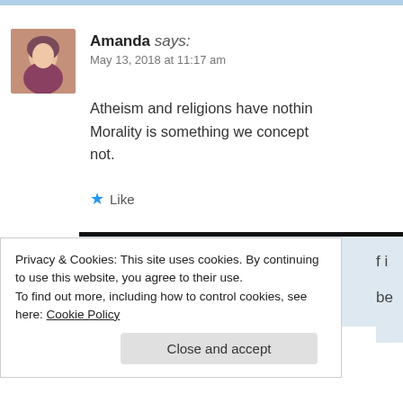[Figure (photo): Avatar photo of Amanda, a young woman]
Amanda says:
May 13, 2018 at 11:17 am
Atheism and religions have nothin Morality is something we concept not.
★ Like
[Figure (illustration): Avatar icon of A Bit Of Orange, cartoon owl character on orange background]
A Bit Of Orange says:
May 14, 2018 at 12:31 pm
Privacy & Cookies: This site uses cookies. By continuing to use this website, you agree to their use.
To find out more, including how to control cookies, see here: Cookie Policy
Close and accept